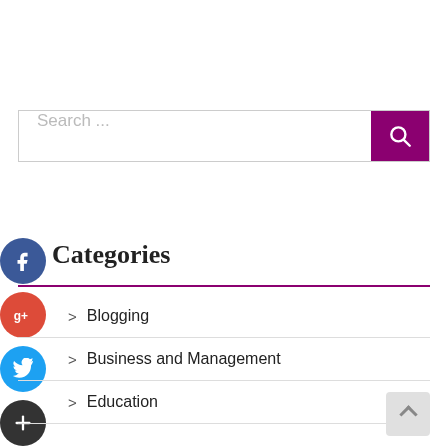[Figure (screenshot): Search bar with placeholder text 'Search ...' and a purple search button with magnifying glass icon]
Categories
[Figure (infographic): Social media floating share icons: Facebook (blue circle with f), Google+ (red circle with g+), Twitter (blue bird circle), and a dark plus icon]
Blogging
Business and Management
Education